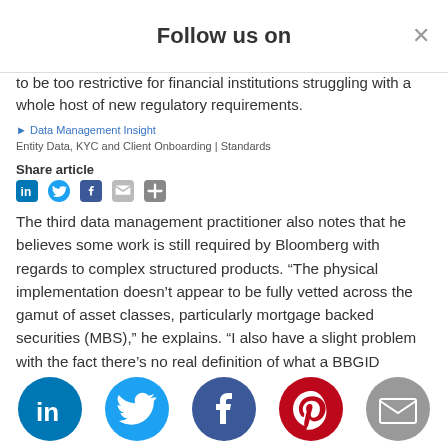Follow us on
to be too restrictive for financial institutions struggling with a whole host of new regulatory requirements.
Entity Data, KYC and Client Onboarding | Standards
Share article
The third data management practitioner also notes that he believes some work is still required by Bloomberg with regards to complex structured products. “The physical implementation doesn’t appear to be fully vetted across the gamut of asset classes, particularly mortgage backed securities (MBS),” he explains. “I also have a slight problem with the fact there’s no real definition of what a BBGID identifier is supposed to be allocated to across the different asset classes. This leads me to believe there’s no real definition of a BBGID.”
In reply to query, Bloomberg’s W says: